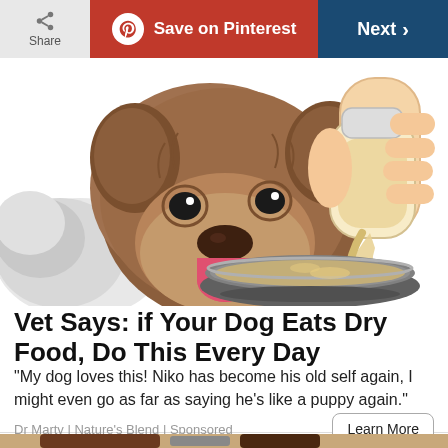Share | Save on Pinterest | Next >
[Figure (illustration): Illustration of a fluffy brown dog looking at a bowl while a hand pours liquid from a bottle into a metal dog bowl]
Vet Says: if Your Dog Eats Dry Food, Do This Every Day
“My dog loves this! Niko has become his old self again, I might even go as far as saying he’s like a puppy again.”
Dr Marty | Nature’s Blend | Sponsored
[Figure (photo): Bottom portion of a photo showing an outdoor wall-mounted lantern light fixture against a textured stucco wall]